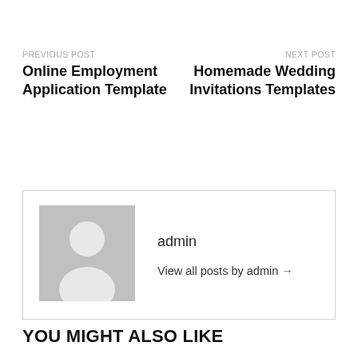PREVIOUS POST
Online Employment Application Template
NEXT POST
Homemade Wedding Invitations Templates
[Figure (illustration): Generic user avatar placeholder: grey square with white silhouette of a person (head and shoulders)]
admin
View all posts by admin →
YOU MIGHT ALSO LIKE